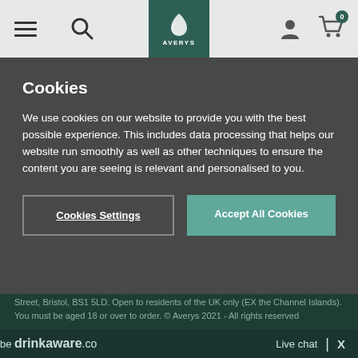Averys navigation bar with menu, search, logo, account, and cart icons
Cookies
We use cookies on our website to provide you with the best possible experience. This includes data processing that helps our website run smoothly as well as other techniques to ensure the content you are seeing is relevant and personalised to you.
Cookies Settings | Accept All Cookies
Red, white or rosé, every delivery is green ...
That's because we offset the carbon emissions of each delivery through major reforestation projects.
Averys of Bristol Ltd. Registered number 376920 England, Registered at 9A Culver Street, Bristol, BS1 5LD. Open to residents of the UK only (EX the Channel Islands). You must be aged 18 or over to order. © Averys 2021 - All rights reserved
be drinkaware.co
Live chat  |  X